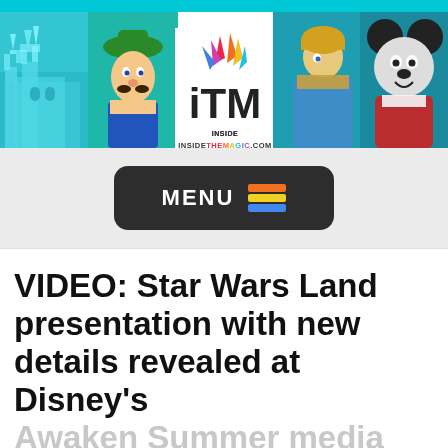[Figure (logo): InsideTheMagic.com (iTM) website header banner with teal/cyan background panels showing Cinderella Castle, Luigi character, the iTM logo with colorful flame icon, and Mickey Mouse characters on right]
[Figure (other): Dark rounded rectangle MENU button with three colored horizontal lines icon (hamburger menu) in orange, yellow, blue colors]
VIDEO: Star Wars Land presentation with new details revealed at Disney's
Awaken Summer media